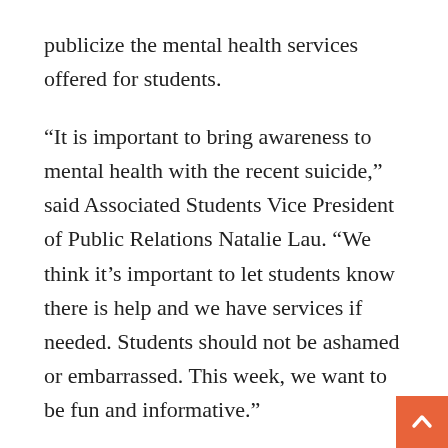publicize the mental health services offered for students.
“It is important to bring awareness to mental health with the recent suicide,” said Associated Students Vice President of Public Relations Natalie Lau. “We think it’s important to let students know there is help and we have services if needed. Students should not be ashamed or embarrassed. This week, we want to be fun and informative.”
The week began Tuesday in the quad with informational booths, brochures on mental wellness and handouts about mobile apps that help reduce stress.
Mental health does not discriminate; it affects bo